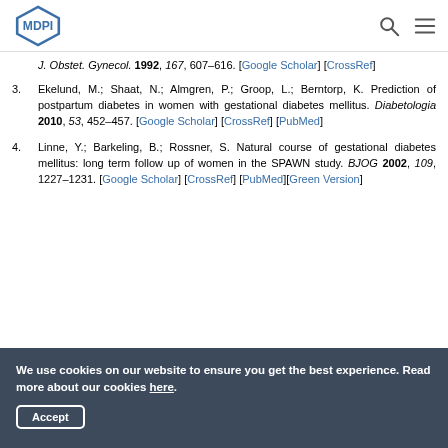MDPI
J. Obstet. Gynecol. 1992, 167, 607–616. [Google Scholar] [CrossRef]
3. Ekelund, M.; Shaat, N.; Almgren, P.; Groop, L.; Berntorp, K. Prediction of postpartum diabetes in women with gestational diabetes mellitus. Diabetologia 2010, 53, 452–457. [Google Scholar] [CrossRef] [PubMed]
4. Linne, Y.; Barkeling, B.; Rossner, S. Natural course of gestational diabetes mellitus: long term follow up of women in the SPAWN study. BJOG 2002, 109, 1227–1231. [Google Scholar] [CrossRef] [PubMed][Green Version]
We use cookies on our website to ensure you get the best experience. Read more about our cookies here.